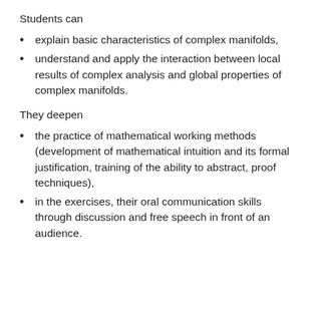Students can
explain basic characteristics of complex manifolds,
understand and apply the interaction between local results of complex analysis and global properties of complex manifolds.
They deepen
the practice of mathematical working methods (development of mathematical intuition and its formal justification, training of the ability to abstract, proof techniques),
in the exercises, their oral communication skills through discussion and free speech in front of an audience.